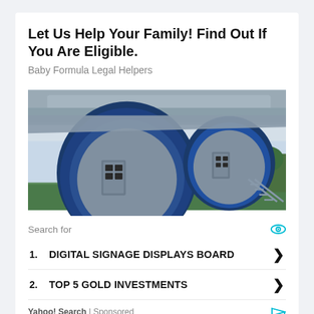Let Us Help Your Family! Find Out If You Are Eligible.
Baby Formula Legal Helpers
[Figure (photo): Photo of repurposed aircraft engine housings converted into small cabin-like structures with doors and windows, surrounded by greenery.]
Search for
1. DIGITAL SIGNAGE DISPLAYS BOARD
2. TOP 5 GOLD INVESTMENTS
Yahoo! Search | Sponsored